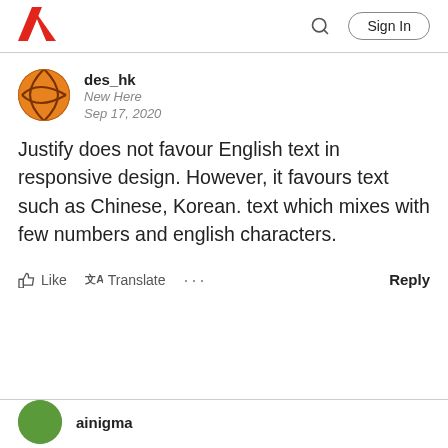[Figure (logo): Adobe logo (red A shape) in top-left of page header]
Sign In
des_hk
New Here
Sep 17, 2020
Justify does not favour English text in responsive design. However, it favours text such as Chinese, Korean. text which mixes with few numbers and english characters.
Like  Translate  ...  Reply
ainigma